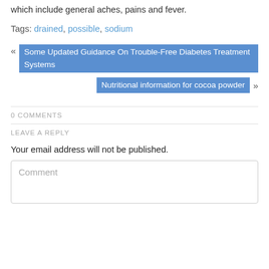which include general aches, pains and fever.
Tags: drained, possible, sodium
« Some Updated Guidance On Trouble-Free Diabetes Treatment Systems
Nutritional information for cocoa powder »
0 COMMENTS
LEAVE A REPLY
Your email address will not be published.
Comment